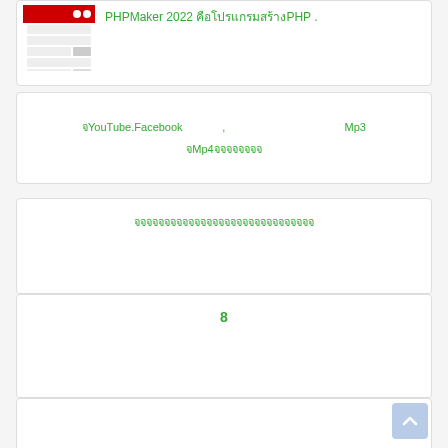[Figure (screenshot): Thumbnail screenshot of a PHP web application interface with red header and data rows]
PHPMaker 2022 คือโปรแกรมสร้างPHP .
จYouTube.Facebook , Mp3
จMp4จจจจจจจจ
จจจจจจจจจจจจจจจจจจจจจจจจจจจจจจ
8
4.0